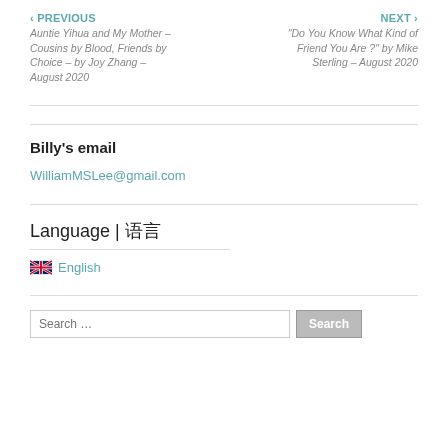‹ PREVIOUS Auntie Yihua and My Mother – Cousins by Blood, Friends by Choice – by Joy Zhang – August 2020
NEXT › "Do You Know What Kind of Friend You Are ?" by Mike Sterling – August 2020
Billy's email
WilliamMSLee@gmail.com
Language | 语言
🇬🇧 English
Search …